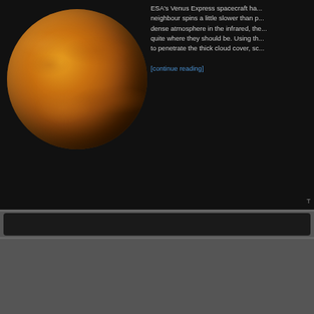[Figure (illustration): Orange/golden planet Venus shown as a sphere with surface texture details, against black background]
ESA's Venus Express spacecraft has... neighbour spins a little slower than p... dense atmosphere in the infrared, the... quite where they should be. Using th... to penetrate the thick cloud cover, sc...
[continue reading]
[Figure (photo): World map satellite image showing Earth's continents against dark blue ocean background]
Latest News
Message to all visitors o...
Anne's Image of Today: ... Galaxy
Rosetta Arrives at Come...
Anne's Image of Today: ...